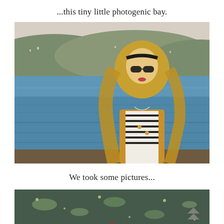...this tiny little photogenic bay.
[Figure (photo): A blonde woman with sunglasses and a headband stands in front of a bay with hills in the background. She is wearing a striped top and a jacket. The water is blue and the hills are covered with buildings and vegetation.]
We took some pictures...
[Figure (photo): A close-up view of sparkling water surface with light reflections, appearing to be the same bay area.]